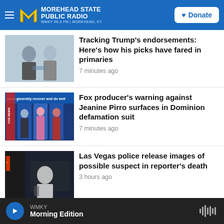MOREHEAD STATE PUBLIC RADIO — WMKY 90.3 FM | MOREHEAD, KY — Donate
[Figure (screenshot): Photo of two men shaking hands outdoors]
Tracking Trump's endorsements: Here's how his picks have fared in primaries
7 minutes ago
[Figure (screenshot): Photo of Fox News billboard showing multiple hosts]
Fox producer's warning against Jeanine Pirro surfaces in Dominion defamation suit
7 minutes ago
[Figure (screenshot): Photo of man standing in front of Las Vegas strip at night]
Las Vegas police release images of possible suspect in reporter's death
3 hours ago
[Figure (screenshot): Partial thumbnail of fourth news story]
Abou... Ame... Ref...
WMKY — Morning Edition